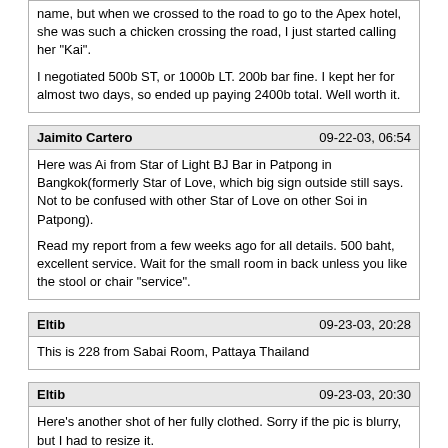name, but when we crossed to the road to go to the Apex hotel, she was such a chicken crossing the road, I just started calling her "Kai".

I negotiated 500b ST, or 1000b LT. 200b bar fine. I kept her for almost two days, so ended up paying 2400b total. Well worth it.
Jaimito Cartero	09-22-03, 06:54
Here was Ai from Star of Light BJ Bar in Patpong in Bangkok(formerly Star of Love, which big sign outside still says. Not to be confused with other Star of Love on other Soi in Patpong).

Read my report from a few weeks ago for all details. 500 baht, excellent service. Wait for the small room in back unless you like the stool or chair "service".
Eltib	09-23-03, 20:28
This is 228 from Sabai Room, Pattaya Thailand
Eltib	09-23-03, 20:30
Here's another shot of her fully clothed. Sorry if the pic is blurry, but I had to resize it.
Mr Z	09-24-03, 12:25
Where is Sabai room?
Eltib	09-25-03, 09:23
2nd road right next to the Big C supercenter.